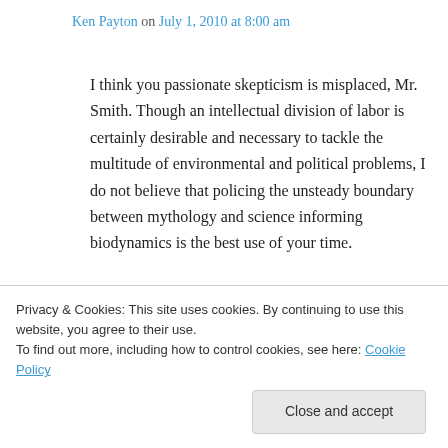Ken Payton on July 1, 2010 at 8:00 am
I think you passionate skepticism is misplaced, Mr. Smith. Though an intellectual division of labor is certainly desirable and necessary to tackle the multitude of environmental and political problems, I do not believe that policing the unsteady boundary between mythology and science informing biodynamics is the best use of your time.
You could, alternatively, start a blog about the
Privacy & Cookies: This site uses cookies. By continuing to use this website, you agree to their use.
To find out more, including how to control cookies, see here: Cookie Policy
Close and accept
discuss the persistence of jet fuel in America's